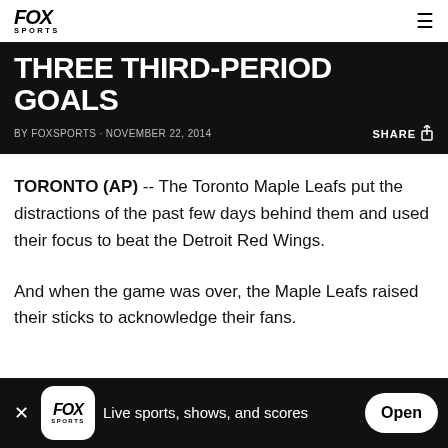FOX SPORTS
THREE THIRD-PERIOD GOALS
BY FOXSPORTS · NOVEMBER 22, 2014   SHARE
TORONTO (AP) -- The Toronto Maple Leafs put the distractions of the past few days behind them and used their focus to beat the Detroit Red Wings.
And when the game was over, the Maple Leafs raised their sticks to acknowledge their fans.
FOX SPORTS — Live sports, shows, and scores   Open